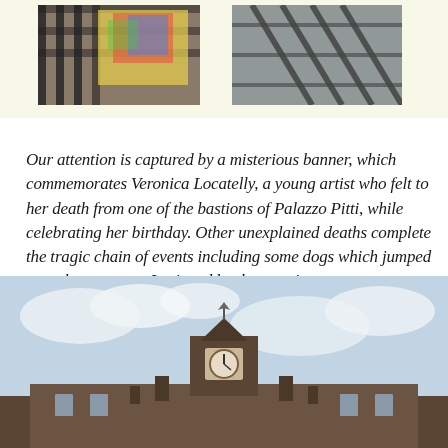[Figure (photo): Two photos side by side on a light yellow background strip at the top. Left photo shows a colorful banner or flag with dark iron railings. Right photo shows a dark decorative metalwork or shadow pattern.]
Our attention is captured by a misterious banner, which commemorates Veronica Locatelly, a young artist who felt to her death from one of the bastions of Palazzo Pitti, while celebrating her birthday. Other unexplained deaths complete the tragic chain of events including some dogs which jumped over the parapets. Intrigued by the warning message, we totally forget about our paradisiac gardens, going in search of adventure at Palazzo Pitti.
[Figure (photo): Bottom photo showing Palazzo Pitti roofline with a clock tower or cupola structure silhouetted against a partly cloudy sky.]